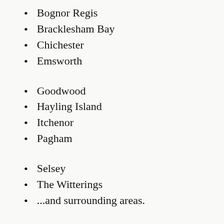Bognor Regis
Bracklesham Bay
Chichester
Emsworth
Goodwood
Hayling Island
Itchenor
Pagham
Selsey
The Witterings
...and surrounding areas.